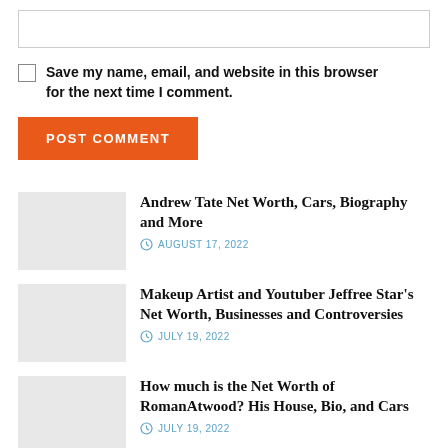[Figure (other): Empty text input box with light gray border]
Save my name, email, and website in this browser for the next time I comment.
POST COMMENT
Andrew Tate Net Worth, Cars, Biography and More
AUGUST 17, 2022
Makeup Artist and Youtuber Jeffree Star's Net Worth, Businesses and Controversies
JULY 19, 2022
How much is the Net Worth of RomanAtwood? His House, Bio, and Cars
JULY 19, 2022